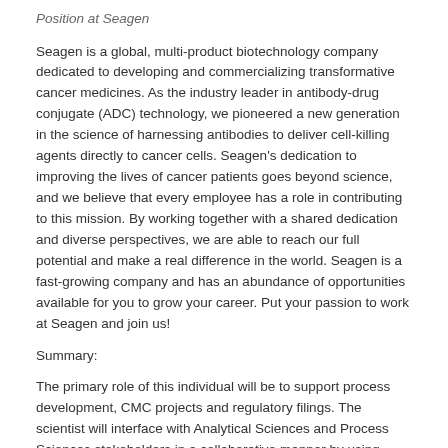Position at Seagen
Seagen is a global, multi-product biotechnology company dedicated to developing and commercializing transformative cancer medicines. As the industry leader in antibody-drug conjugate (ADC) technology, we pioneered a new generation in the science of harnessing antibodies to deliver cell-killing agents directly to cancer cells. Seagen’s dedication to improving the lives of cancer patients goes beyond science, and we believe that every employee has a role in contributing to this mission. By working together with a shared dedication and diverse perspectives, we are able to reach our full potential and make a real difference in the world. Seagen is a fast-growing company and has an abundance of opportunities available for you to grow your career. Put your passion to work at Seagen and join us!
Summary:
The primary role of this individual will be to support process development, CMC projects and regulatory filings. The scientist will interface with Analytical Sciences and Process Sciences stakeholders in a collaborative manner by using mass spectrometry to characterize biotherapeutic proteins and identify minor variants and low-level unknown host-cell protein impurities. They will work cross functionally to ensure timely mass spectrometry support and delivery of product...